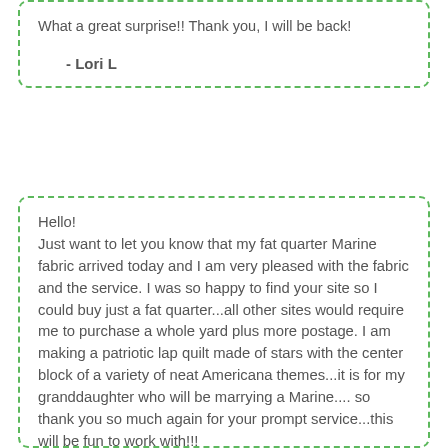What a great surprise!! Thank you, I will be back!
- Lori L
Hello!
Just want to let you know that my fat quarter Marine fabric arrived today and I am very pleased with the fabric and the service. I was so happy to find your site so I could buy just a fat quarter...all other sites would require me to purchase a whole yard plus more postage. I am making a patriotic lap quilt made of stars with the center block of a variety of neat Americana themes...it is for my granddaughter who will be marrying a Marine.... so thank you so much again for your prompt service...this will be fun to work with!!!
- Carol